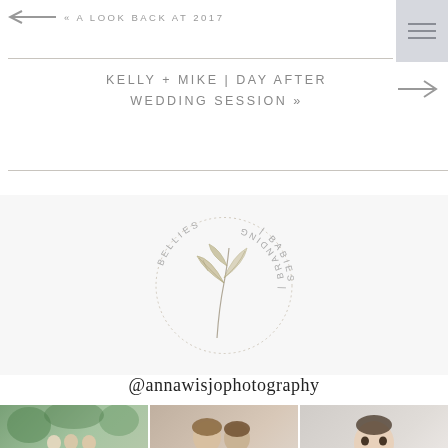« A LOOK BACK AT 2017
KELLY + MIKE | DAY AFTER WEDDING SESSION »
[Figure (logo): Circular logo with illustrated botanical leaves/stems in the center and text curved around the circle reading 'BELLIES | BABIES | BRANDING']
@annawisjophotography
[Figure (photo): Three thumbnail photos: family group outdoors in green setting; couple close together; baby/toddler portrait]